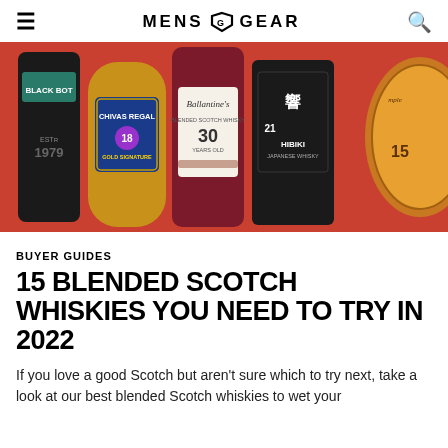MENS GEAR
[Figure (photo): Five bottles of blended Scotch whisky arranged against a red background: Black Bottle, Chivas Regal 18 Gold Signature, Ballantine's 30 Years, Hibiki 21, and a partially visible bottle on the right showing '15'.]
BUYER GUIDES
15 BLENDED SCOTCH WHISKIES YOU NEED TO TRY IN 2022
If you love a good Scotch but aren't sure which to try next, take a look at our best blended Scotch whiskies to wet your